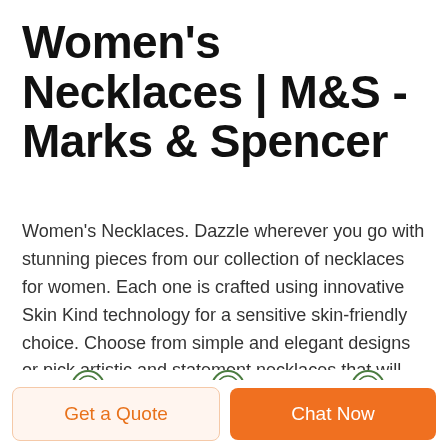Women's Necklaces | M&S - Marks & Spencer
Women's Necklaces. Dazzle wherever you go with stunning pieces from our collection of necklaces for women. Each one is crafted using innovative Skin Kind technology for a sensitive skin-friendly choice. Choose from simple and elegant designs or pick artistic and statement necklaces that will elevate your outfit – as only the perfect piece of ...
[Figure (screenshot): Row of three product thumbnails each preceded by a DEEKON logo (circular icon above red DEEKON text). Products shown are: a black shoe, a black box/case, and a teal/green item.]
Get a Quote
Chat Now